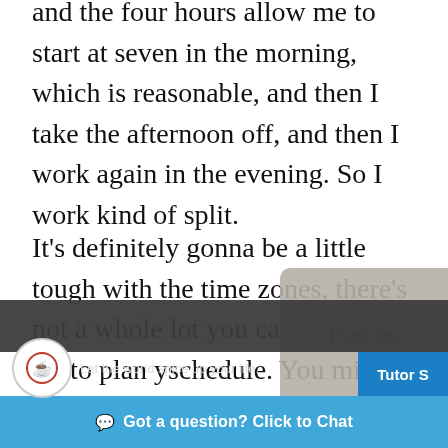and the four hours allow me to start at seven in the morning, which is reasonable, and then I take the afternoon off, and then I work again in the evening. So I work kind of split.
It's definitely gonna be a little tough with the time zones, there's not a whole lot you can do, but try to plan y… schedule. You might have a little weird schedule like me, working Friday nights and Saturday nights, but I… take Sunday…